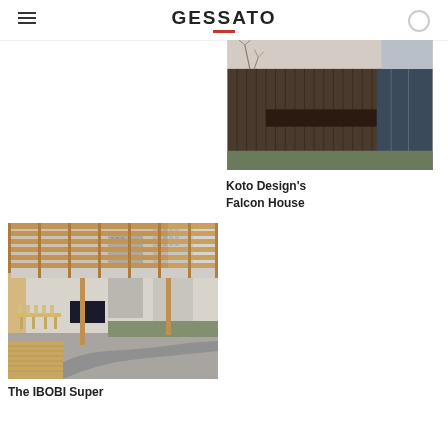GESSATO
[Figure (photo): Exterior of Falcon House by Koto Design — dark wood cladding with concrete elements and bare trees in background]
Koto Design's Falcon House
[Figure (photo): IBOBI Super — outdoor terrace with wooden pergola roof, curved pathway, seating area, and city tower blocks in background]
The IBOBI Super